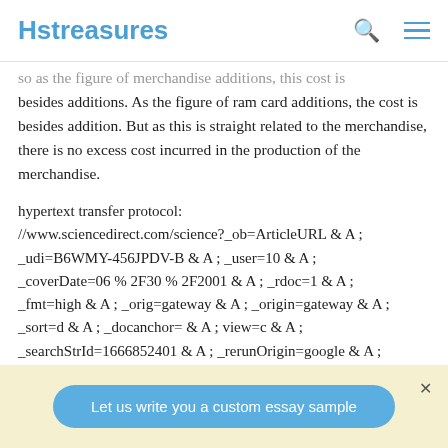Hstreasures
so as the figure of merchandise additions, this cost is besides additions. As the figure of ram card additions, the cost is besides addition. But as this is straight related to the merchandise, there is no excess cost incurred in the production of the merchandise.
hypertext transfer protocol: //www.sciencedirect.com/science?_ob=ArticleURL & A ; _udi=B6WMY-456JPDV-B & A ; _user=10 & A ; _coverDate=06 % 2F30 % 2F2001 & A ; _rdoc=1 & A ; _fmt=high & A ; _orig=gateway & A ; _origin=gateway & A ; _sort=d & A ; _docanchor= & A ; view=c & A ; _searchStrId=1666852401 & A ; _rerunOrigin=google & A ;
Let us write you a custom essay sample